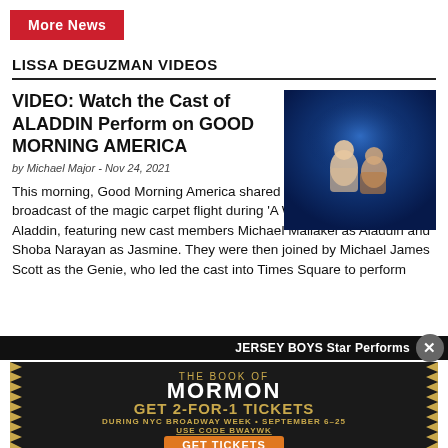More News
LISSA DEGUZMAN VIDEOS
VIDEO: Watch the Cast of ALADDIN Perform on GOOD MORNING AMERICA
by Michael Major - Nov 24, 2021
[Figure (photo): Two performers on stage in a blue-lit scene, likely from Aladdin]
This morning, Good Morning America shared the first-ever televised broadcast of the magic carpet flight during 'A Whole New World' in Aladdin, featuring new cast members Michael Maliakel as Aladdin and Shoba Narayan as Jasmine. They were then joined by Michael James Scott as the Genie, who led the cast into Times Square to perform
JERSEY BOYS Star Performs
[Figure (infographic): Advertisement for The Book of Mormon: GET 2-FOR-1 TICKETS DURING NYC BROADWAY WEEK • SEPTEMBER 6-25 USE CODE BWAYWK GET TICKETS]